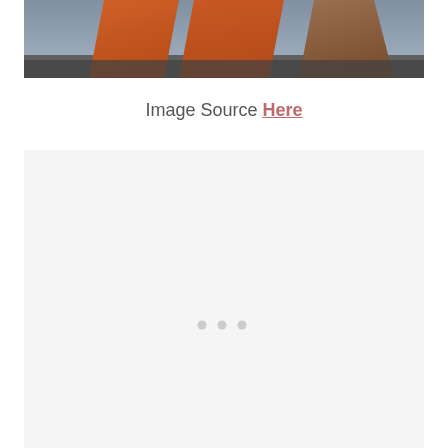[Figure (photo): Cropped photo showing people in orange outfits/jumpsuits standing outdoors, only lower bodies visible]
Image Source Here
[Figure (other): Large light gray rectangular placeholder/loading block with three small dots in the center]